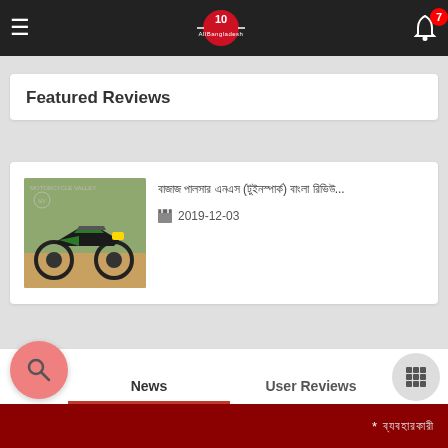AllBangladesh — 10th anniversary logo, notification bell with badge 7
Featured Reviews
[Figure (photo): Motorcycle (black/green sport bike) parked outdoors with MotorcycleValley watermark]
বাজাজ পালসার এনএস (টুইনস্পার্ক) বাংলা রিভিউ... 2019-12-03
News | User Reviews — search icon, grid icon — * ব্যবহারকারী